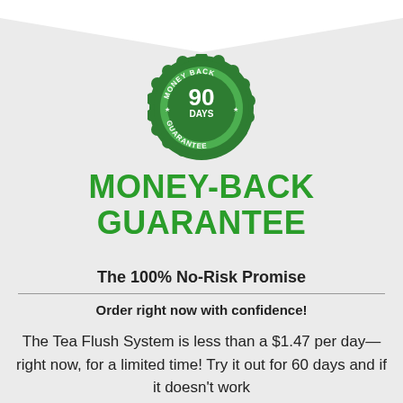[Figure (logo): Green circular money-back guarantee badge with scalloped/gear edge, showing '90 DAYS' in large white text in the center, with 'MONEY BACK' arched at top and 'GUARANTEE' at bottom in white text]
MONEY-BACK GUARANTEE
The 100% No-Risk Promise
Order right now with confidence!
The Tea Flush System is less than a $1.47 per day—right now, for a limited time! Try it out for 60 days and if it doesn't work